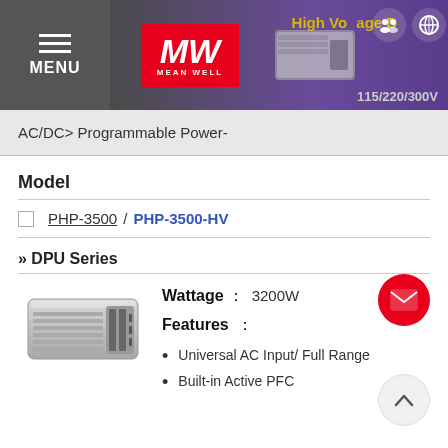MENU | Mean Well – AC/DC Programmable Power Supply
AC/DC> Programmable Power-
Model
PHP-3500 / PHP-3500-HV
» DPU Series
[Figure (photo): Mean Well DPU series power supply unit – silver metallic rectangular enclosure with ventilation slots and connectors]
Wattage : 3200W
Features :
Universal AC Input/ Full Range
Built-in Active PFC